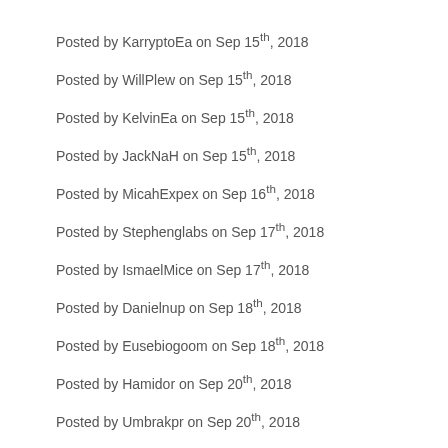Posted by KarryptoEa on Sep 15th, 2018
Posted by WillPlew on Sep 15th, 2018
Posted by KelvinEa on Sep 15th, 2018
Posted by JackNaH on Sep 15th, 2018
Posted by MicahExpex on Sep 16th, 2018
Posted by Stephenglabs on Sep 17th, 2018
Posted by IsmaelMice on Sep 17th, 2018
Posted by Danielnup on Sep 18th, 2018
Posted by Eusebiogoom on Sep 18th, 2018
Posted by Hamidor on Sep 20th, 2018
Posted by Umbrakpr on Sep 20th, 2018